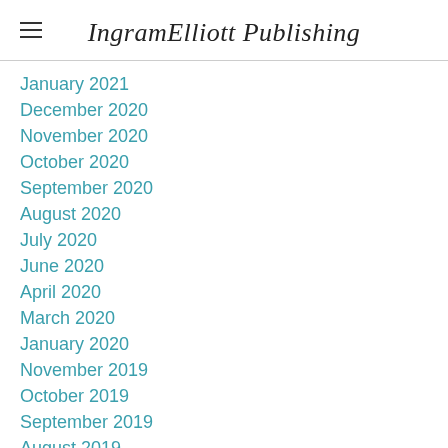IngramElliott Publishing
January 2021
December 2020
November 2020
October 2020
September 2020
August 2020
July 2020
June 2020
April 2020
March 2020
January 2020
November 2019
October 2019
September 2019
August 2019
July 2019
June 2019